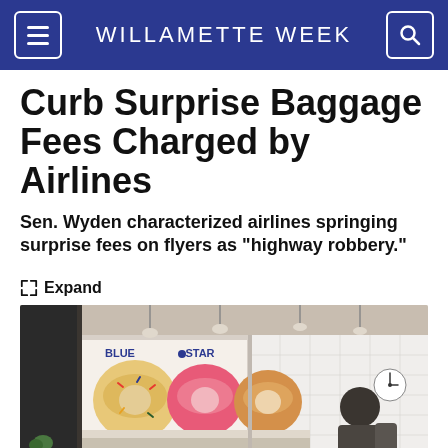WILLAMETTE WEEK
Curb Surprise Baggage Fees Charged by Airlines
Sen. Wyden characterized airlines springing surprise fees on flyers as "highway robbery."
Expand
[Figure (photo): Interior of a Blue Star Donuts shop showing display case with donuts, pendant lights, white tile walls, and a customer at the counter.]